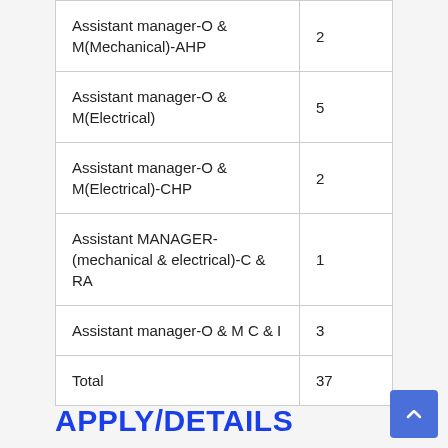| Position | Count |
| --- | --- |
| Assistant manager-O & M(Mechanical)-AHP | 2 |
| Assistant manager-O & M(Electrical) | 5 |
| Assistant manager-O & M(Electrical)-CHP | 2 |
| Assistant MANAGER-(mechanical & electrical)-C & RA | 1 |
| Assistant manager-O & M C & I | 3 |
| Total | 37 |
APPLY/DETAILS